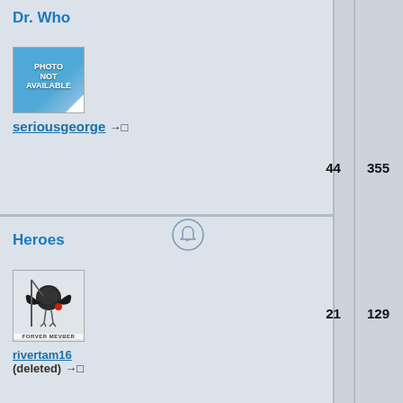Dr. Who
[Figure (photo): Photo not available placeholder image for user seriousgeorge]
seriousgeorge →□
44
355
[Figure (other): Bell/notification icon in a circle]
Heroes
[Figure (photo): Avatar image for rivertam16 with FOREVER MEMBER badge]
rivertam16 (deleted) →□
21
129